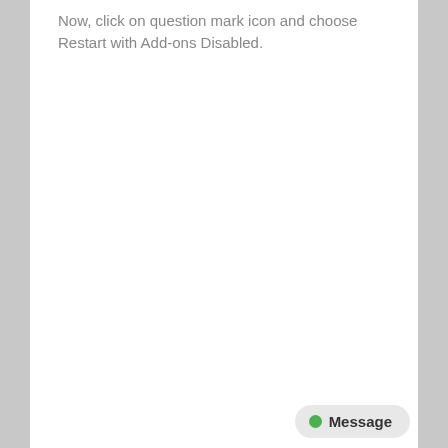Now, click on question mark icon and choose Restart with Add-ons Disabled.
Message